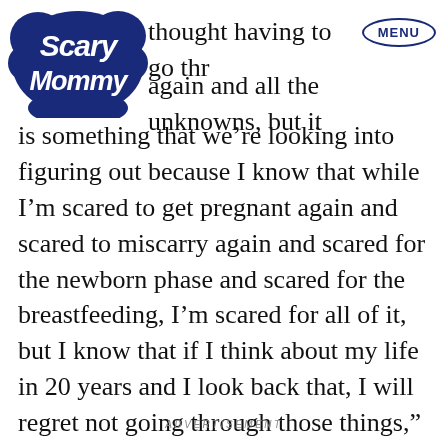[Figure (logo): Scary Mommy logo in dark navy blue, cloud/bubble style lettering]
thought having to go through again and all the unknowns, but it is something that we're looking into figuring out because I know that while I'm scared to get pregnant again and scared to miscarry again and scared for the newborn phase and scared for the breastfeeding, I'm scared for all of it, but I know that if I think about my life in 20 years and I look back that, I will regret not going through those things,” she said.
ADVERTISEMENT